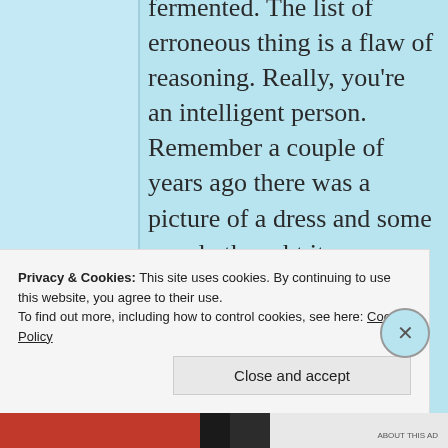fermented. The list of erroneous thing is a flaw of reasoning. Really, you're an intelligent person. Remember a couple of years ago there was a picture of a dress and some people thought it was
Privacy & Cookies: This site uses cookies. By continuing to use this website, you agree to their use. To find out more, including how to control cookies, see here: Cookie Policy
Close and accept